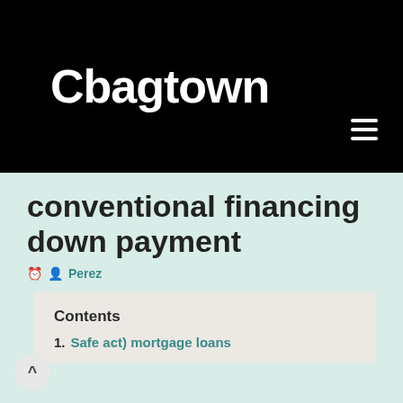Cbagtown
conventional financing down payment
Perez
Contents
1. Safe act) mortgage loans